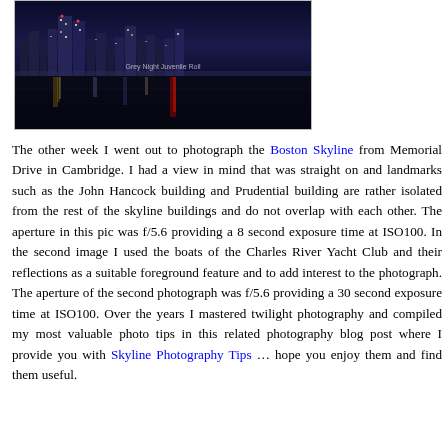[Figure (photo): Night photograph of the Boston skyline reflected in the Charles River, taken from Memorial Drive in Cambridge. City lights shimmer on the water. Watermark text reads 'Grey Night Juvenile Roll'.]
The other week I went out to photograph the Boston Skyline from Memorial Drive in Cambridge. I had a view in mind that was straight on and landmarks such as the John Hancock building and Prudential building are rather isolated from the rest of the skyline buildings and do not overlap with each other. The aperture in this pic was f/5.6 providing a 8 second exposure time at ISO100. In the second image I used the boats of the Charles River Yacht Club and their reflections as a suitable foreground feature and to add interest to the photograph. The aperture of the second photograph was f/5.6 providing a 30 second exposure time at ISO100. Over the years I mastered twilight photography and compiled my most valuable photo tips in this related photography blog post where I provide you with Skyline Photography Tips ... hope you enjoy them and find them useful.